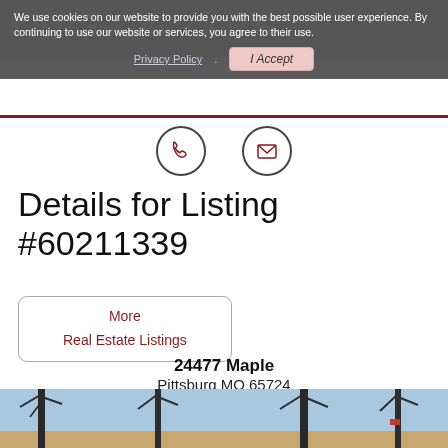Kathy Stanley Real Estate, Inc.
We use cookies on our website to provide you with the best possible user experience. By continuing to use our website or services, you agree to their use.
Privacy Policy.  I Accept
Details for Listing #60211339
More
Real Estate Listings
24477 Maple
Pittsburg MO 65724
[Figure (photo): Exterior photo of a rural property at 24477 Maple, Pittsburg MO 65724, showing bare winter trees against a blue sky with a building partially visible beneath.]